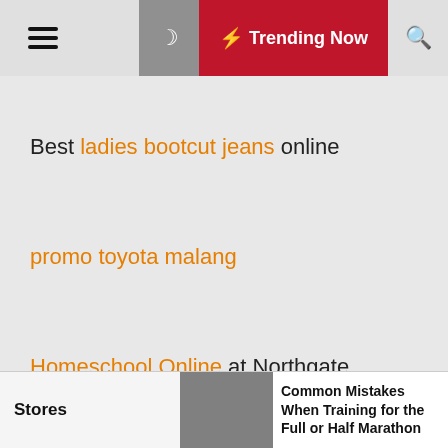☰ 🌙 ⚡ Trending Now 🔍
Best ladies bootcut jeans online
promo toyota malang
Homeschool Online at Northgate
Stores | Common Mistakes When Training for the Full or Half Marathon